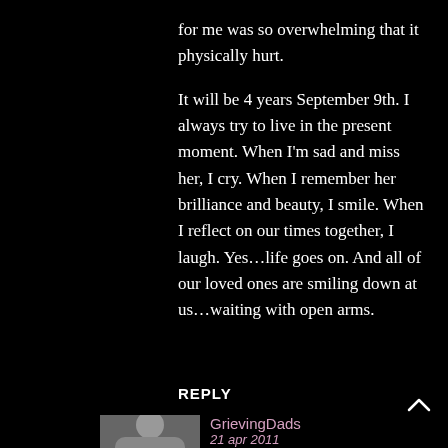for me was so overwhelming that it physically hurt.

It will be 4 years September 9th. I always try to live in the present moment. When I'm sad and miss her, I cry. When I remember her brilliance and beauty, I smile. When I reflect on our times together, I laugh. Yes…life goes on. And all of our loved ones are smiling down at us…waiting with open arms.
REPLY
GrievingDads
21 apr 2011